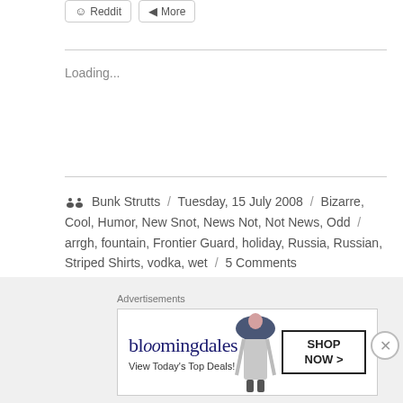Reddit / More
Loading...
Bunk Strutts / Tuesday, 15 July 2008 / Bizarre, Cool, Humor, New Snot, News Not, Not News, Odd / arrgh, fountain, Frontier Guard, holiday, Russia, Russian, Striped Shirts, vodka, wet / 5 Comments
Iran Photoshops Missile Launch
Advertisements
[Figure (other): Bloomingdales advertisement banner with woman in hat and SHOP NOW button]